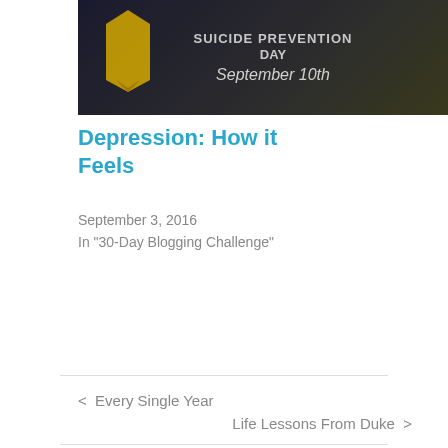[Figure (photo): Thumbnail image showing a dark background with text 'SUICIDE PREVENTION DAY September 10th' and a yellow ribbon graphic]
Depression: How it Feels
September 3, 2016
In "30-Day Blogging Challenge"
< Every Single Year
Life Lessons From Duke >